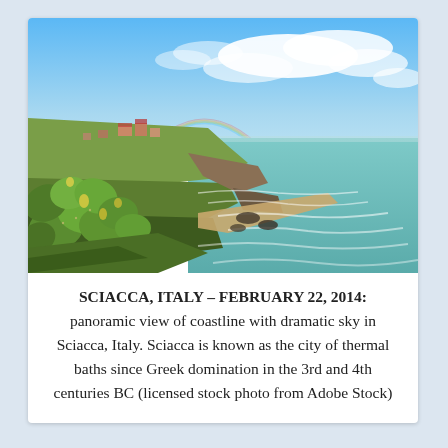[Figure (photo): Panoramic coastal photo showing cliffs with cactus/prickly pear plants in foreground, a curving shoreline with breaking waves, Mediterranean-style buildings on the cliffs, a rainbow in a dramatic blue sky with white clouds, and turquoise sea extending to the horizon. Location: Sciacca, Italy.]
SCIACCA, ITALY – FEBRUARY 22, 2014: panoramic view of coastline with dramatic sky in Sciacca, Italy. Sciacca is known as the city of thermal baths since Greek domination in the 3rd and 4th centuries BC (licensed stock photo from Adobe Stock)